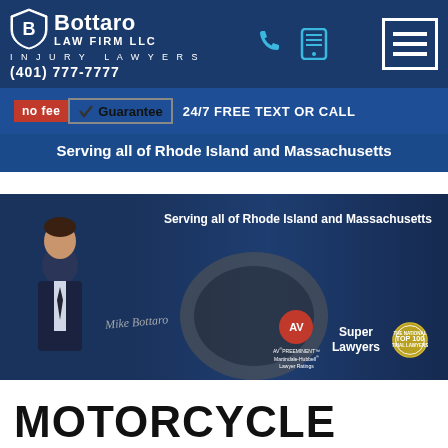[Figure (logo): Bottaro Law Firm LLC logo with shield icon, firm name, INJURY LAWYERS tagline, and phone number (401) 777-7777 in header navigation bar]
no fee ✓Guarantee   24/7 FREE TEXT OR CALL
Serving all of Rhode Island and Massachusetts
[Figure (photo): Hero banner showing attorney Mike Bottaro with his signature, awards including AV Preeminent Martindale-Hubbell Lawyer Ratings, Super Lawyers, and National Top 100 Trial Lawyers badge, with text 'Serving all of Rhode Island and Massachusetts' and dark overlay on motorcycle accident background]
MOTORCYCLE